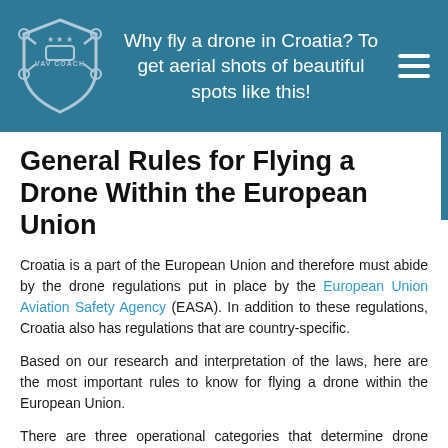Why fly a drone in Croatia? To get aerial shots of beautiful spots like this!
General Rules for Flying a Drone Within the European Union
Croatia is a part of the European Union and therefore must abide by the drone regulations put in place by the European Union Aviation Safety Agency (EASA). In addition to these regulations, Croatia also has regulations that are country-specific.
Based on our research and interpretation of the laws, here are the most important rules to know for flying a drone within the European Union.
There are three operational categories that determine drone regulations based on the weight of the drone and the intended drone actions. This att...